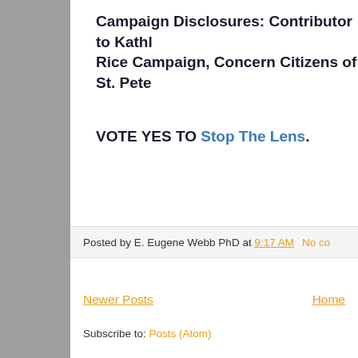Campaign Disclosures: Contributor to Kathl Rice Campaign, Concern Citizens of St. Pete
VOTE YES TO Stop The Lens.
Posted by E. Eugene Webb PhD at 9:17 AM  No co
Newer Posts
Home
Subscribe to: Posts (Atom)
PUBLICATION, REPRODUCTION A